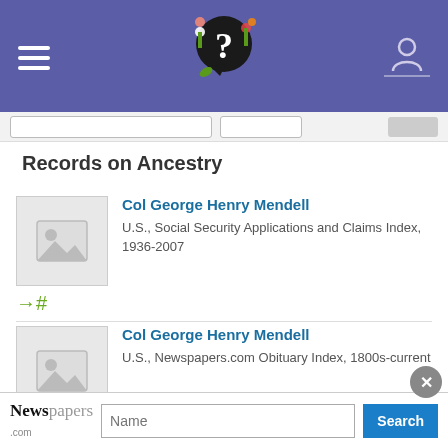Records on Ancestry — app header with logo and navigation
Records on Ancestry
Col George Henry Mendell
U.S., Social Security Applications and Claims Index, 1936-2007
Col George Henry Mendell
U.S., Newspapers.com Obituary Index, 1800s-current
Col George Henry Mendell
Massachusetts, U.S., Marriage Records, 1840-1915
Newspapers — Name [search bar] Search